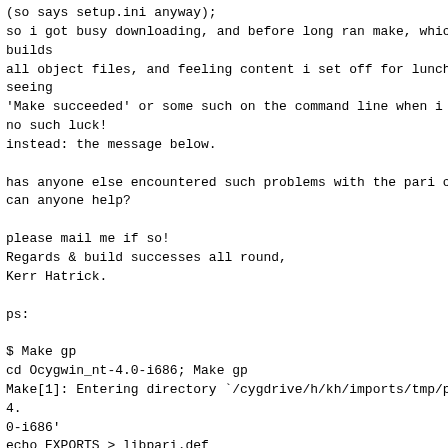(so says setup.ini anyway);
so i got busy downloading, and before long ran make, whic
builds
all object files, and feeling content i set off for lunc
seeing
'Make succeeded' or some such on the command line when i
no such luck!
instead: the message below.

has anyone else encountered such problems with the pari c
can anyone help?

please mail me if so!
Regards & build successes all round,
Kerr Hatrick.

ps:

$ Make gp
cd Ocygwin_nt-4.0-i686; Make gp
Make[1]: Entering directory `/cygdrive/h/kh/imports/tmp/p
4.
0-i686'
echo EXPORTS > libpari.def
echo libpari_impure_ptr = _impure_ptr >> libpari.def
nm libpari.a | sed -n '/^......... [BCDRT] _/s/[^_]*_//p'
dlltool                    \
        --def libpari.def
        --dllname libpari.dll
        --output-exp libpari.exp